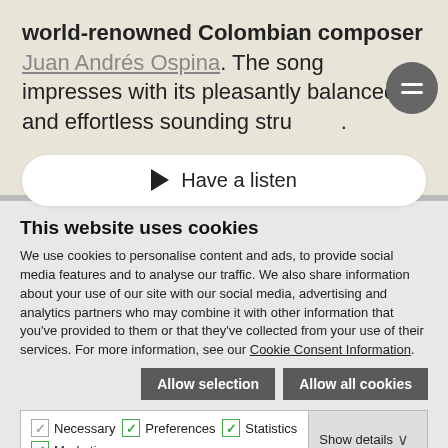world-renowned Colombian composer Juan Andrés Ospina. The song impresses with its pleasantly balanced and effortless sounding structure.
[Figure (other): Play button UI element with label 'Have a listen' on a beige background]
This website uses cookies
We use cookies to personalise content and ads, to provide social media features and to analyse our traffic. We also share information about your use of our site with our social media, advertising and analytics partners who may combine it with other information that you've provided to them or that they've collected from your use of their services. For more information, see our Cookie Consent Information.
Allow selection | Allow all cookies
Necessary  Preferences  Statistics  Marketing  Show details